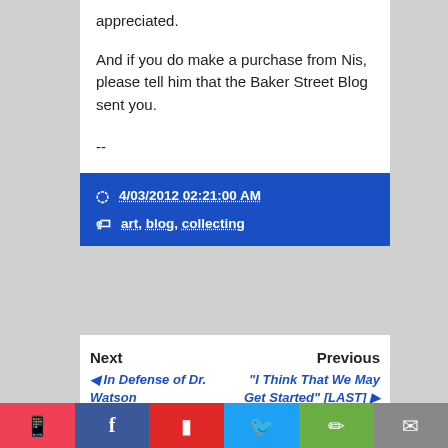appreciated.
And if you do make a purchase from Nis, please tell him that the Baker Street Blog sent you.
--
4/03/2012 02:21:00 AM
art, blog, collecting
Next
◄ In Defense of Dr. Watson
Previous
"I Think That We May Get Started" [LAST] ►
Related Posts
Pocket | Facebook | Flipboard | Twitter | Google+ | Email